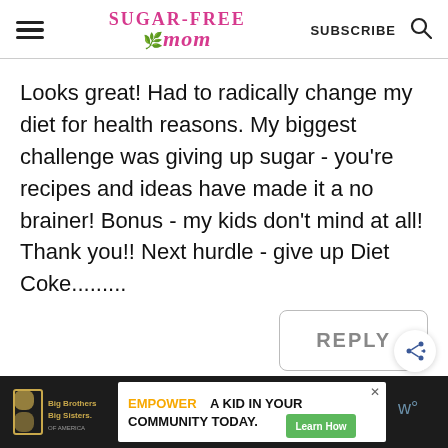Sugar-Free Mom | SUBSCRIBE
Looks great! Had to radically change my diet for health reasons. My biggest challenge was giving up sugar - you're recipes and ideas have made it a no brainer! Bonus - my kids don't mind at all! Thank you!! Next hurdle - give up Diet Coke.........
REPLY
[Figure (infographic): Advertisement banner: Big Brothers Big Sisters logo on dark background, with text 'EMPOWER A KID IN YOUR COMMUNITY TODAY.' and green 'Learn How' button]